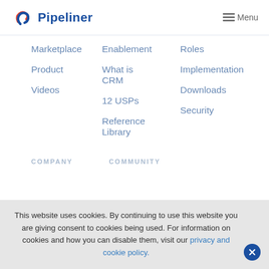[Figure (logo): Pipeliner CRM logo with blue and red swirl icon and 'Pipeliner' text in dark blue]
≡ Menu
Marketplace
Product
Videos
Enablement
What is CRM
12 USPs
Reference Library
Roles
Implementation
Downloads
Security
COMPANY
COMMUNITY
This website uses cookies. By continuing to use this website you are giving consent to cookies being used. For information on cookies and how you can disable them, visit our privacy and cookie policy.